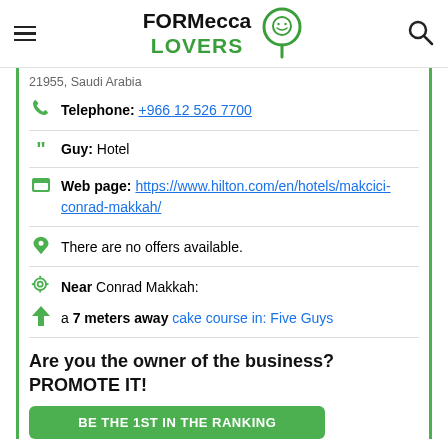FORMecca LOVERS
21955, Saudi Arabia
Telephone: +966 12 526 7700
Guy: Hotel
Web page: https://www.hilton.com/en/hotels/makcici-conrad-makkah/
There are no offers available.
Near Conrad Makkah:
a 7 meters away cake course in: Five Guys
Are you the owner of the business? PROMOTE IT!
BE THE 1ST IN THE RANKING